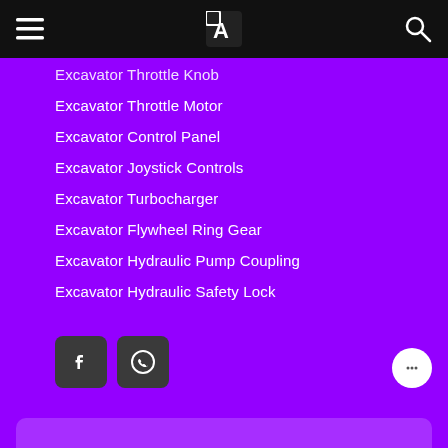Navigation header with menu, logo, and search icons
Excavator Throttle Knob
Excavator Throttle Motor
Excavator Control Panel
Excavator Joystick Controls
Excavator Turbocharger
Excavator Flywheel Ring Gear
Excavator Hydraulic Pump Coupling
Excavator Hydraulic Safety Lock
[Figure (other): Social media icons: Facebook and WhatsApp buttons, and a chat bubble icon in the bottom right corner]